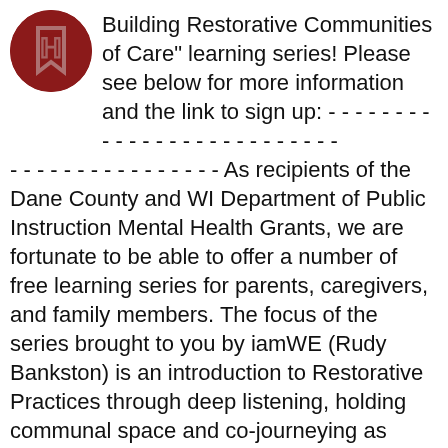[Figure (logo): Dark red circular logo with a stylized bookmark or letter symbol in the center]
Building Restorative Communities of Care" learning series! Please see below for more information and the link to sign up: - - - - - - - - - - - - - - - - - - - - - - - - - - - - - - - - - - - - - - - - - - - - - - - As recipients of the Dane County and WI Department of Public Instruction Mental Health Grants, we are fortunate to be able to offer a number of free learning series for parents, caregivers, and family members. The focus of the series brought to you by iamWE (Rudy Bankston) is an introduction to Restorative Practices through deep listening, holding communal space and co-journeying as human beings in our current context of complexity. Over the course of weekly sessions offered a few different times this winter and spring, we will build community and grow together. Please see the flyer attached for more information. Sign